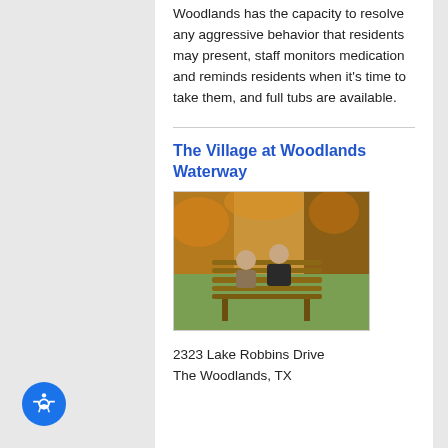Woodlands has the capacity to resolve any aggressive behavior that residents may present, staff monitors medication and reminds residents when it's time to take them, and full tubs are available.
The Village at Woodlands Waterway
[Figure (photo): Two elderly people sitting on a wooden park bench viewed from behind, surrounded by autumn trees with orange and yellow foliage.]
2323 Lake Robbins Drive The Woodlands, TX